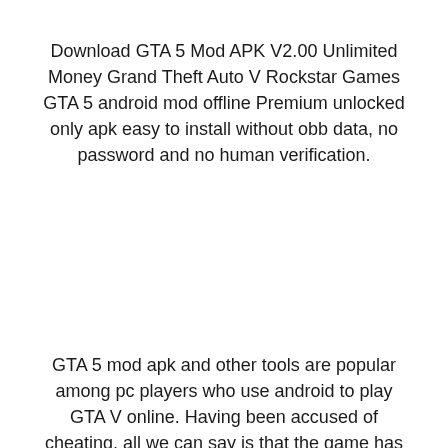Download GTA 5 Mod APK V2.00 Unlimited Money Grand Theft Auto V Rockstar Games GTA 5 android mod offline Premium unlocked only apk easy to install without obb data, no password and no human verification.
GTA 5 mod apk and other tools are popular among pc players who use android to play GTA V online. Having been accused of cheating, all we can say is that the game has